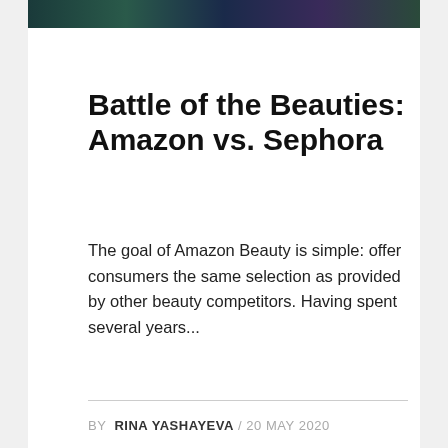[Figure (photo): Dark colorful image strip at the top of the card, showing a dark teal/purple/green abstract pattern]
Battle of the Beauties: Amazon vs. Sephora
The goal of Amazon Beauty is simple: offer consumers the same selection as provided by other beauty competitors. Having spent several years...
BY RINA YASHAYEVA / 20 MAY 2020